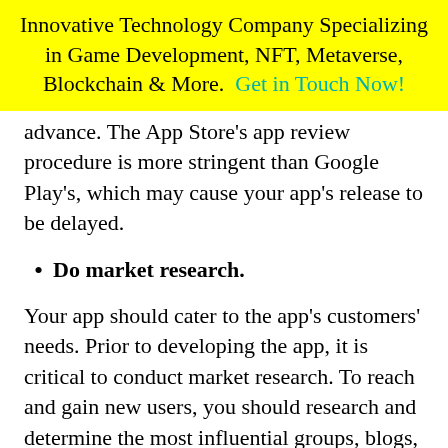Innovative Technology Company Specializing in Game Development, NFT, Metaverse, Blockchain & More. Get in Touch Now!
advance. The App Store's app review procedure is more stringent than Google Play's, which may cause your app's release to be delayed.
Do market research.
Your app should cater to the app's customers' needs. Prior to developing the app, it is critical to conduct market research. To reach and gain new users, you should research and determine the most influential groups, blogs, websites, forums, and influencers your target demographic frequent on social media